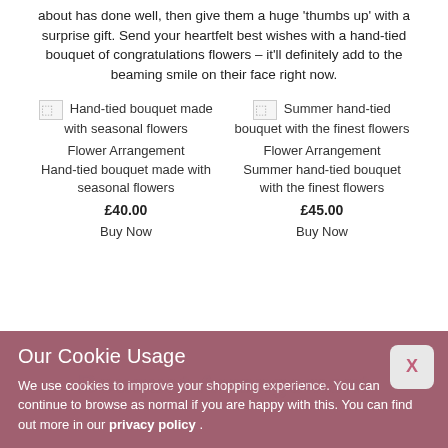about has done well, then give them a huge 'thumbs up' with a surprise gift. Send your heartfelt best wishes with a hand-tied bouquet of congratulations flowers – it'll definitely add to the beaming smile on their face right now.
[Figure (other): Product listing: Hand-tied bouquet made with seasonal flowers, Flower Arrangement, Hand-tied bouquet made with seasonal flowers, £40.00, Buy Now]
[Figure (other): Product listing: Summer hand-tied bouquet with the finest flowers, Flower Arrangement, Summer hand-tied bouquet with the finest flowers, £45.00, Buy Now]
Our Cookie Usage
We use cookies to improve your shopping experience. You can continue to browse as normal if you are happy with this. You can find out more in our privacy policy .